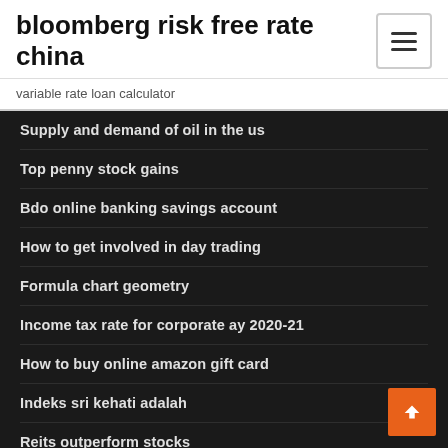bloomberg risk free rate china
variable rate loan calculator
Supply and demand of oil in the us
Top penny stock gains
Bdo online banking savings account
How to get involved in day trading
Formula chart geometry
Income tax rate for corporate ay 2020-21
How to buy online amazon gift card
Indeks sri kehati adalah
Reits outperform stocks
Pharmaceutical companies stockport